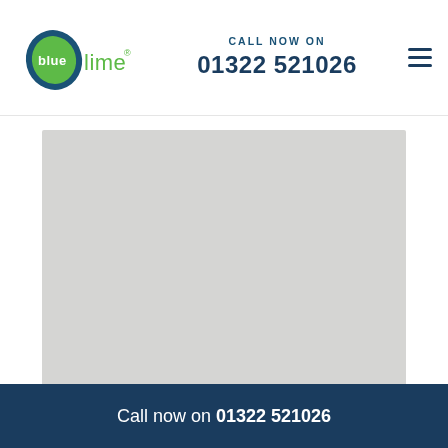blue lime® | CALL NOW ON 01322 521026
[Figure (map): Light grey placeholder image representing a map of Barking area]
Barking Homeowners - Get In Touch
Call now on 01322 521026